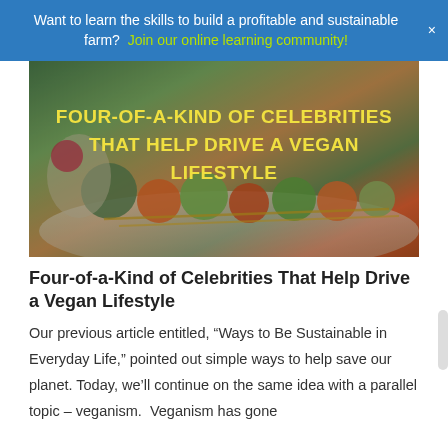Want to learn the skills to build a profitable and sustainable farm?  Join our online learning community!
[Figure (photo): Hero image of colorful vegetable skewers on a plate with text overlay reading FOUR-OF-A-KIND OF CELEBRITIES THAT HELP DRIVE A VEGAN LIFESTYLE in yellow uppercase letters]
Four-of-a-Kind of Celebrities That Help Drive a Vegan Lifestyle
Our previous article entitled, “Ways to Be Sustainable in Everyday Life,” pointed out simple ways to help save our planet. Today, we’ll continue on the same idea with a parallel topic – veganism.  Veganism has gone